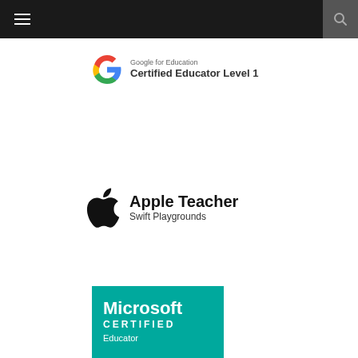Navigation bar with hamburger menu and search icon
[Figure (logo): Google for Education Certified Educator Level 1 badge with Google G logo]
[Figure (logo): Apple Teacher Swift Playgrounds badge with Apple logo]
[Figure (logo): Microsoft Certified Educator badge with teal background]